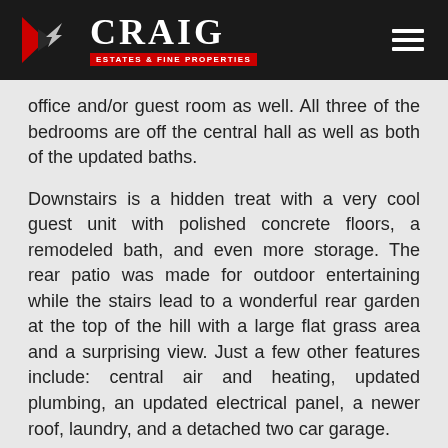[Figure (logo): Craig Estates & Fine Properties logo with red geometric icon on dark background header with hamburger menu]
office and/or guest room as well. All three of the bedrooms are off the central hall as well as both of the updated baths.
Downstairs is a hidden treat with a very cool guest unit with polished concrete floors, a remodeled bath, and even more storage. The rear patio was made for outdoor entertaining while the stairs lead to a wonderful rear garden at the top of the hill with a large flat grass area and a surprising view. Just a few other features include: central air and heating, updated plumbing, an updated electrical panel, a newer roof, laundry, and a detached two car garage.